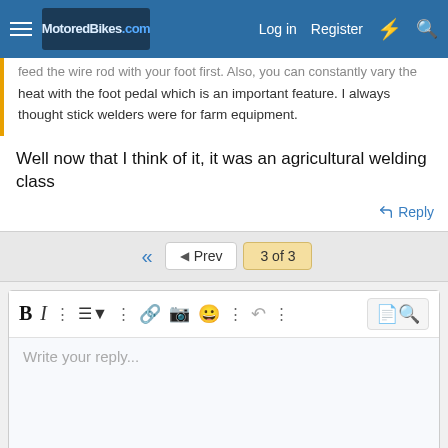MotoredBikes.com — Log in | Register
...feed the wire rod with your foot first. Also, you can constantly vary the heat with the foot pedal which is an important feature. I always thought stick welders were for farm equipment.
Well now that I think of it, it was an agricultural welding class
Reply
◄◄  ◄ Prev  3 of 3
Write your reply...
Post reply